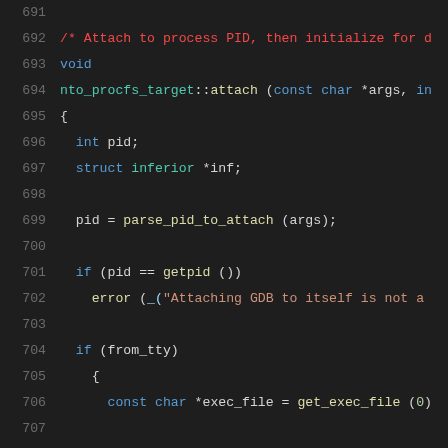[Figure (screenshot): Source code listing in a dark-themed code editor showing lines 691–712 of a C++ file, with syntax highlighting. The code shows the nto_procfs_target::attach function implementation.]